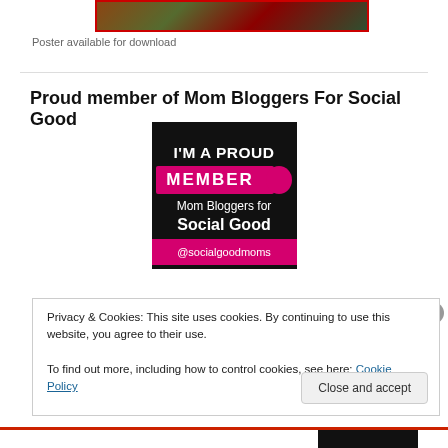[Figure (photo): Partial view of a photo with red border showing nature/food imagery]
Poster available for download
Proud member of Mom Bloggers For Social Good
[Figure (logo): Mom Bloggers for Social Good badge. Black background with text: I'M A PROUD MEMBER Mom Bloggers for Social Good @socialgoodmoms. Pink accent bar behind MEMBER text.]
Privacy & Cookies: This site uses cookies. By continuing to use this website, you agree to their use.
To find out more, including how to control cookies, see here: Cookie Policy
Close and accept